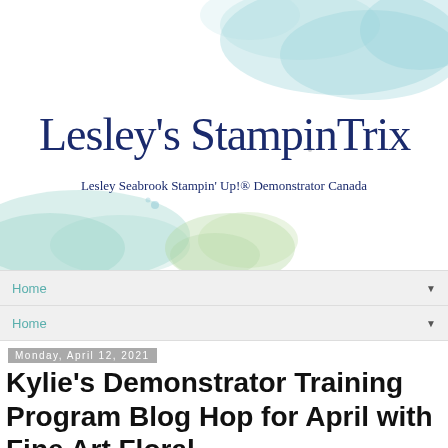[Figure (logo): Lesley's StampinTrix blog banner with watercolor background in teal/green hues, script logo text 'Lesley's StampinTrix' in dark navy, tagline 'Lesley Seabrook Stampin' Up!® Demonstrator Canada']
Home
Home
Monday, April 12, 2021
Kylie's Demonstrator Training Program Blog Hop for April with Fine Art Floral